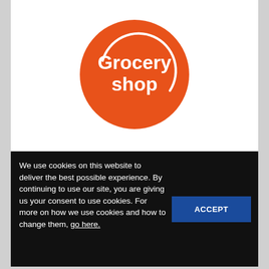[Figure (logo): Grocery shop logo: orange circle with white text 'Grocery shop' and a stylized circular arrow element]
We use cookies on this website to deliver the best possible experience. By continuing to use our site, you are giving us your consent to use cookies. For more on how we use cookies and how to change them, go here.